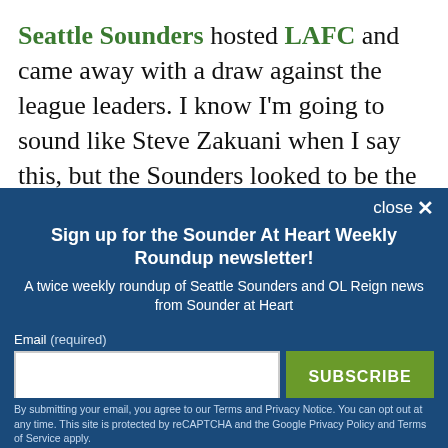Seattle Sounders hosted LAFC and came away with a draw against the league leaders. I know I'm going to sound like Steve Zakuani when I say this, but the Sounders looked to be the much stronger team based on the eye test (although xG would say otherwise). Seattle controlled the majority of the match, but only
Sign up for the Sounder At Heart Weekly Roundup newsletter!
A twice weekly roundup of Seattle Sounders and OL Reign news from Sounder at Heart
Email (required)
SUBSCRIBE
By submitting your email, you agree to our Terms and Privacy Notice. You can opt out at any time. This site is protected by reCAPTCHA and the Google Privacy Policy and Terms of Service apply.